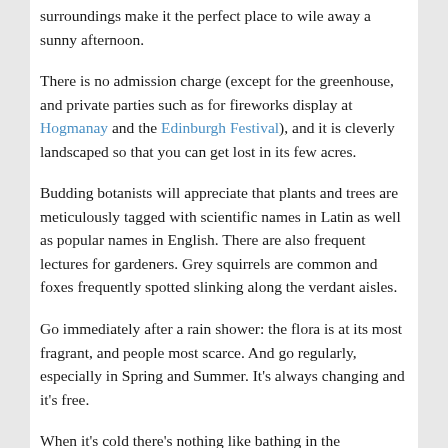surroundings make it the perfect place to wile away a sunny afternoon.
There is no admission charge (except for the greenhouse, and private parties such as for fireworks display at Hogmanay and the Edinburgh Festival), and it is cleverly landscaped so that you can get lost in its few acres.
Budding botanists will appreciate that plants and trees are meticulously tagged with scientific names in Latin as well as popular names in English. There are also frequent lectures for gardeners. Grey squirrels are common and foxes frequently spotted slinking along the verdant aisles.
Go immediately after a rain shower: the flora is at its most fragrant, and people most scarce. And go regularly, especially in Spring and Summer. It's always changing and it's free.
When it's cold there's nothing like bathing in the